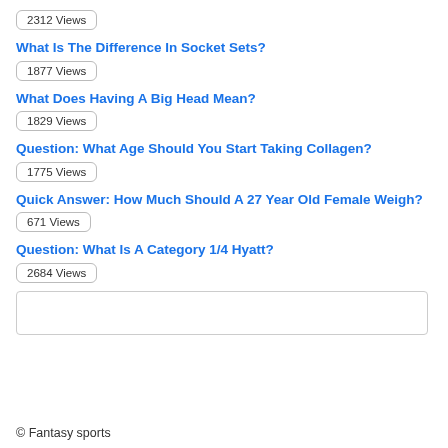2312 Views
What Is The Difference In Socket Sets?
1877 Views
What Does Having A Big Head Mean?
1829 Views
Question: What Age Should You Start Taking Collagen?
1775 Views
Quick Answer: How Much Should A 27 Year Old Female Weigh?
671 Views
Question: What Is A Category 1/4 Hyatt?
2684 Views
© Fantasy sports